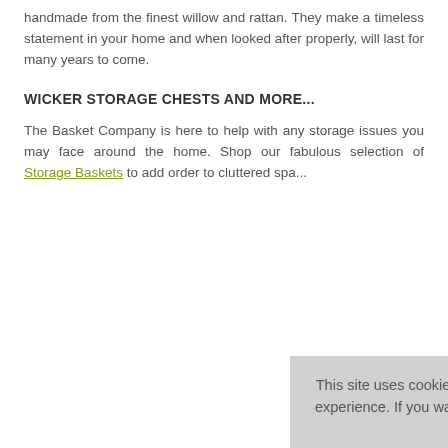handmade from the finest willow and rattan. They make a timeless statement in your home and when looked after properly, will last for many years to come.
WICKER STORAGE CHESTS AND MORE...
The Basket Company is here to help with any storage issues you may face around the home. Shop our fabulous selection of Storage Baskets to add order to cluttered spa...
[Figure (screenshot): Cookie consent popup overlay with text about site cookies, links to Cookies Page, opt-in checkbox, and ACCEPT COOKIES button. Background shows grey footer area with green TOP button, email input field, and social media icons.]